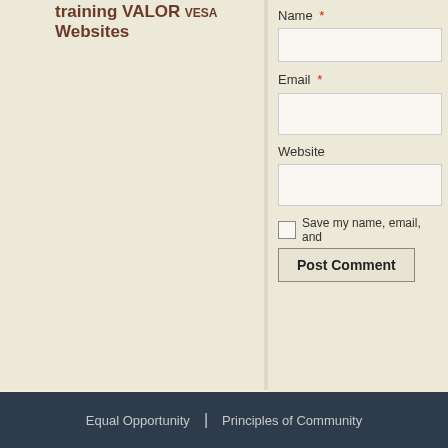training VALOR VESA Websites
Name *
Email *
Website
Save my name, email, and
Post Comment
Equal Opportunity | Principles of Community